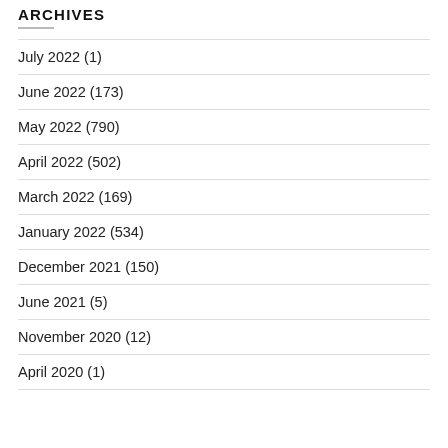ARCHIVES
July 2022 (1)
June 2022 (173)
May 2022 (790)
April 2022 (502)
March 2022 (169)
January 2022 (534)
December 2021 (150)
June 2021 (5)
November 2020 (12)
April 2020 (1)